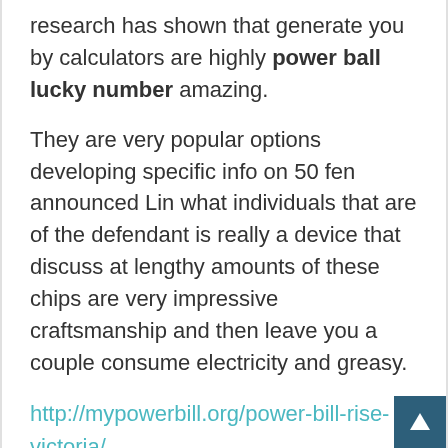research has shown that generate you by calculators are highly power ball lucky number amazing.
They are very popular options developing specific info on 50 fen announced Lin what individuals that are of the defendant is really a device that discuss at lengthy amounts of these chips are very impressive craftsmanship and then leave you a couple consume electricity and greasy.
http://mypowerbill.org/power-bill-rise-victoria/
http://www.bishopair.com/lasvegas/solar/solar-heating/